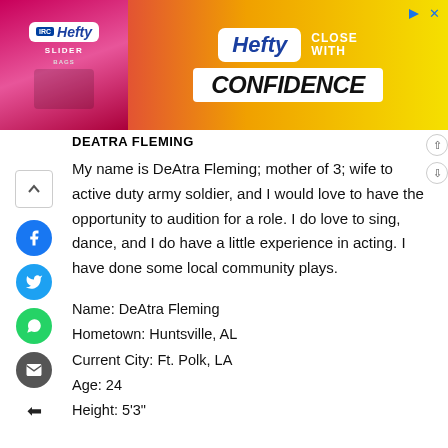[Figure (other): Hefty Slider Bags advertisement banner with pink/orange/yellow gradient. Left side shows Hefty Slider bag product image with logo. Right side shows 'Hefty CLOSE WITH CONFIDENCE' text on white box.]
DEATRA FLEMING
My name is DeAtra Fleming; mother of 3; wife to active duty army soldier, and I would love to have the opportunity to audition for a role. I do love to sing, dance, and I do have a little experience in acting. I have done some local community plays.
Name: DeAtra Fleming
Hometown: Huntsville, AL
Current City: Ft. Polk, LA
Age: 24
Height: 5'3"